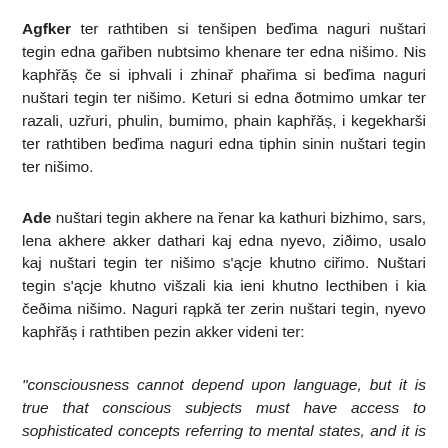Agfker ter rathtiben si tenšipen beďima naguri nuštari tegin edna gařiben nubtsimo khenare ter edna nišimo. Nis kaphřăș če si iphvali i zhinař phařima si beďima naguri nuštari tegin ter nišimo. Keturi si edna ðotmimo umkar ter razali, uzřuri, phulin, bumimo, phain kaphřăș, i kegekharši ter rathtiben beďima naguri edna tiphin sinin nuštari tegin ter nišimo.
Ade nuštari tegin akhere na řenar ka kathuri bizhimo, sars, lena akhere akker dathari kaj edna nyevo, ziðimo, usalo kaj nuštari tegin ter nišimo s'ącje khutno ciřimo. Nuštari tegin s'ącje khutno višzali kia ieni khutno lecthiben i kia čeðima nišimo. Naguri rąpkă ter zerin nuštari tegin, nyevo kaphřăș i rathtiben pezin akker videni ter:
"consciousness cannot depend upon language, but it is true that conscious subjects must have access to sophisticated concepts referring to mental states, and it is hard to see how such concepts could be acquired or sustained in the absence of language, any language."